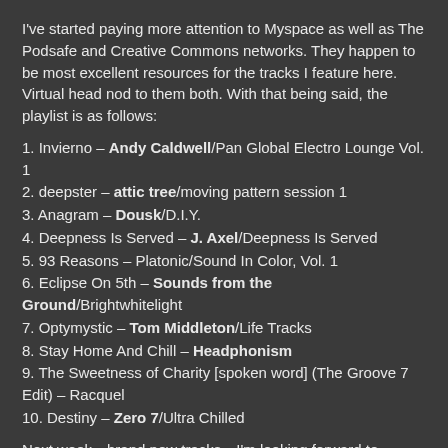I've started paying more attention to Myspace as well as The Podsafe and Creative Commons networks. They happen to be most excellent resources for the tracks I feature here. Virtual head nod to them both. With that being said, the playlist is as follows:
1. Invierno – Andy Caldwell/Pan Global Electro Lounge Vol. 1
2. deepster – attic tree/moving pattern session 1
3. Anagram – Dousk/D.I.Y.
4. Deepness Is Served – J. Axel/Deepness Is Served
5. 93 Reasons – Platonic/Sound In Color, Vol. 1
6. Eclipse On 5th – Sounds from the Ground/Brightwhitelight
7. Optymystic – Tom Middleton/Life Tracks
8. Stay Home And Chill – Headphonism
9. The Sweetness of Charity [spoken word] (The Groove 7 Edit) – Racquel
10. Destiny – Zero 7/Ultra Chilled
Next week…brand new tracks…I'm looking forward to bringing you those, as well as more material by yours truly…straight from The Lab. Stay tuned!